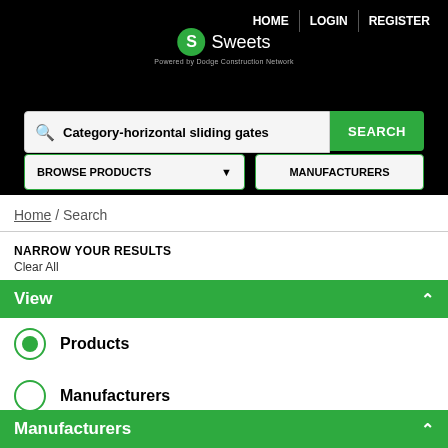[Figure (screenshot): Sweets website header with black background, logo, navigation links (HOME, LOGIN, REGISTER), search bar with 'Category-horizontal sliding gates', SEARCH button, BROWSE PRODUCTS dropdown, and MANUFACTURERS button]
Home / Search
NARROW YOUR RESULTS
Clear All
View
Products (selected radio button)
Manufacturers
Manufacturers